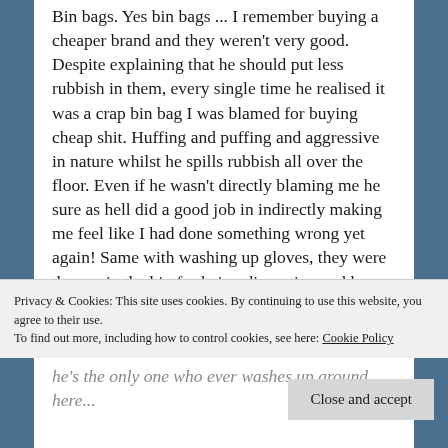Bin bags. Yes bin bags ... I remember buying a cheaper brand and they weren't very good. Despite explaining that he should put less rubbish in them, every single time he realised it was a crap bin bag I was blamed for buying cheap shit. Huffing and puffing and aggressive in nature whilst he spills rubbish all over the floor. Even if he wasn't directly blaming me he sure as hell did a good job in indirectly making me feel like I had done something wrong yet again! Same with washing up gloves, they were thrown in the bin for being disgusting and he often told me I couldn't wash up. I didn't ever do it right. Then when the washing up built up he would scream out that clearly he's the only one who ever washes up around here.
Privacy & Cookies: This site uses cookies. By continuing to use this website, you agree to their use.
To find out more, including how to control cookies, see here: Cookie Policy
Close and accept